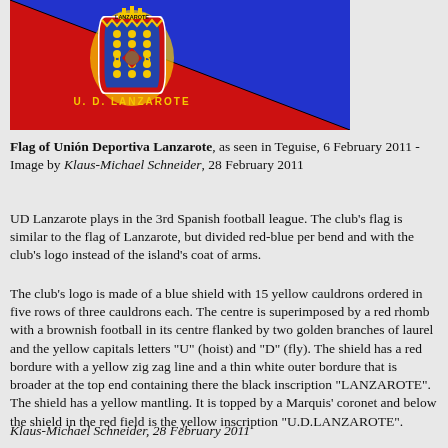[Figure (illustration): Flag of Unión Deportiva Lanzarote - red and blue flag divided diagonally per bend, with the club's yellow logo/crest on red field and text U. D. LANZAROTE below the crest]
Flag of Unión Deportiva Lanzarote, as seen in Teguise, 6 February 2011 - Image by Klaus-Michael Schneider, 28 February 2011
UD Lanzarote plays in the 3rd Spanish football league. The club's flag is similar to the flag of Lanzarote, but divided red-blue per bend and with the club's logo instead of the island's coat of arms.
The club's logo is made of a blue shield with 15 yellow cauldrons ordered in five rows of three cauldrons each. The centre is superimposed by a red rhomb with a brownish football in its centre flanked by two golden branches of laurel and the yellow capitals letters "U" (hoist) and "D" (fly). The shield has a red bordure with a yellow zig zag line and a thin white outer bordure that is broader at the top end containing there the black inscription "LANZAROTE". The shield has a yellow mantling. It is topped by a Marquis' coronet and below the shield in the red field is the yellow inscription "U.D.LANZAROTE".
Klaus-Michael Schneider, 28 February 2011